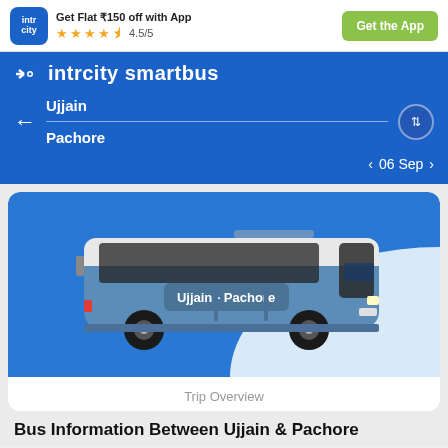Get Flat ₹150 off with App | 4.5/5 | Get the App
intrcity smartbus
Ujjain
Pachore
06 Sep
[Figure (illustration): A blue intercity bus labeled 'Ujjain - Pachore' on a blue and white background card]
Trip Overview
Bus Information Between Ujjain & Pachore